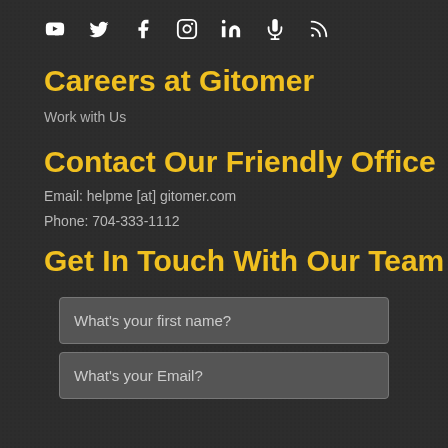[Figure (other): Row of social media icons: YouTube, Twitter, Facebook, Instagram, LinkedIn, Microphone/Podcast, RSS]
Careers at Gitomer
Work with Us
Contact Our Friendly Office
Email: helpme [at] gitomer.com
Phone: 704-333-1112
Get In Touch With Our Team
What's your first name?
What's your Email?